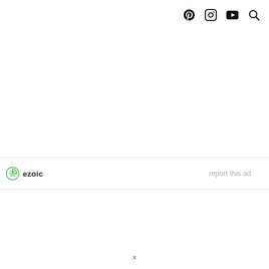[social icons: Pinterest, Instagram, YouTube, Search]
[Figure (logo): Ezoic logo with green circular icon and bold text 'ezoic', with 'report this ad' link on the right]
x